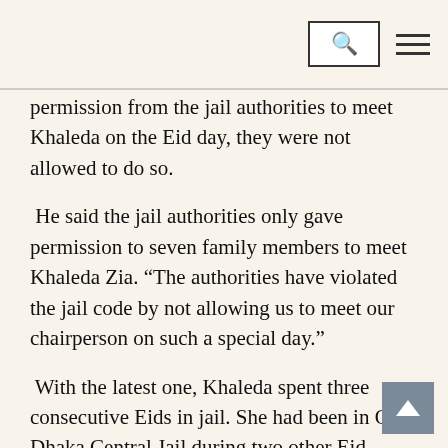Search and menu navigation bar
permission from the jail authorities to meet Khaleda on the Eid day, they were not allowed to do so.
He said the jail authorities only gave permission to seven family members to meet Khaleda Zia. “The authorities have violated the jail code by not allowing us to meet our chairperson on such a special day.”
With the latest one, Khaleda spent three consecutive Eids in jail. She had been in Old Dhaka Central Jail during two other Eid festivals last year.
The BNP chief earlier celebrated Eid twice in jail following her arrest by the army-backed caretaker government after the 1/11 political changeover in 2007,